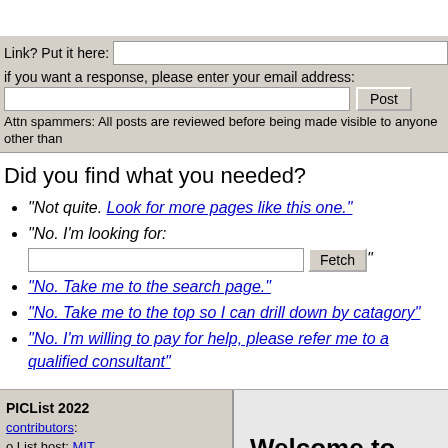Link? Put it here:
if you want a response, please enter your email address:
Attn spammers: All posts are reviewed before being made visible to anyone other than
Did you find what you needed?
"Not quite. Look for more pages like this one."
"No. I'm looking for: [input] Fetch "
"No. Take me to the search page."
"No. Take me to the top so I can drill down by catagory"
"No. I'm willing to pay for help, please refer me to a qualified consultant"
PICList 2022
contributors:
o List host: MIT,
Site host
massmind.org, Top posters
@none found
- Page Editors: James Newton, David Cary, and
YOU!
* Roman Black of Black
Welcome to www.piclist.com!